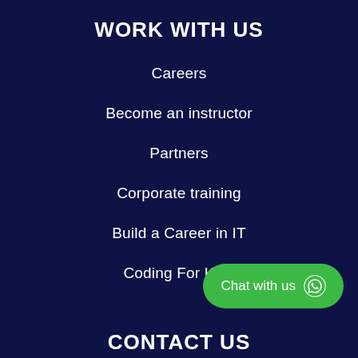WORK WITH US
Careers
Become an instructor
Partners
Corporate training
Build a Career in IT
Coding For Kids
Chat with us
CONTACT US